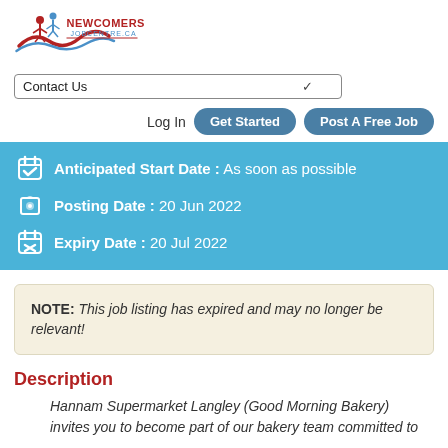[Figure (logo): Newcomers Job Centre logo with stylized figures and wave, text reads NEWCOMERS JOBCENTRE.CA]
Contact Us
Log In  Get Started  Post A Free Job
Anticipated Start Date : As soon as possible
Posting Date : 20 Jun 2022
Expiry Date : 20 Jul 2022
NOTE: This job listing has expired and may no longer be relevant!
Description
Hannam Supermarket Langley (Good Morning Bakery) invites you to become part of our bakery team committed to